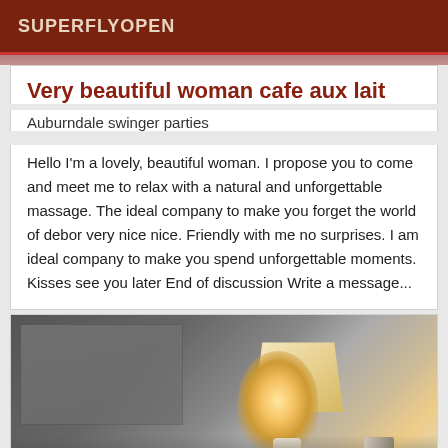SUPERFLYOPEN
Very beautiful woman cafe aux lait
Auburndale swinger parties
Hello I'm a lovely, beautiful woman. I propose you to come and meet me to relax with a natural and unforgettable massage. The ideal company to make you forget the world of debor very nice nice. Friendly with me no surprises. I am ideal company to make you spend unforgettable moments. Kisses see you later End of discussion Write a message...
[Figure (photo): A dimly lit hotel or bedroom scene with a lamp with a white shade glowing on the right side, stones at the lamp base, and a dark background suggesting a bed or room interior.]